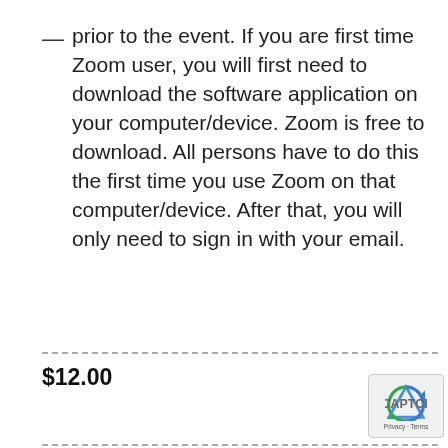prior to the event. If you are first time Zoom user, you will first need to download the software application on your computer/device. Zoom is free to download. All persons have to do this the first time you use Zoom on that computer/device. After that, you will only need to sign in with your email.
$12.00